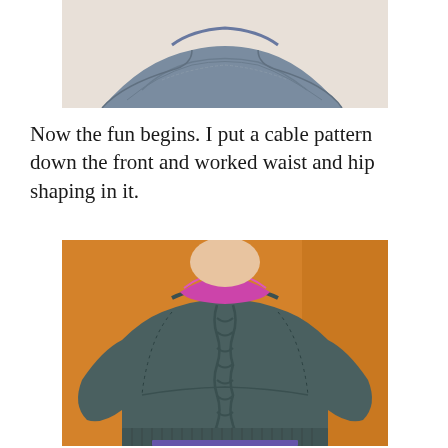[Figure (photo): Close-up of a knitted garment shoulder/neckline in blue-gray yarn, shown on a mannequin stand, cropped to show just the top portion.]
Now the fun begins. I put a cable pattern down the front and worked waist and hip shaping in it.
[Figure (photo): A person wearing a dark gray/teal knitted sweater with a cable pattern down the front and decorative eyelet raglan lines along the shoulders. The sweater features waist and hip shaping. Background is orange/tan wall.]